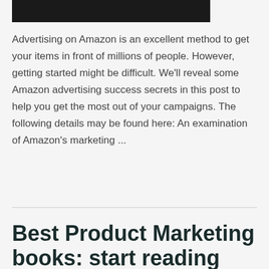[Figure (photo): Dark/black image at the top of the page, partially cropped]
Advertising on Amazon is an excellent method to get your items in front of millions of people. However, getting started might be difficult. We'll reveal some Amazon advertising success secrets in this post to help you get the most out of your campaigns. The following details may be found here: An examination of Amazon's marketing ...
Read More »
Best Product Marketing books: start reading them